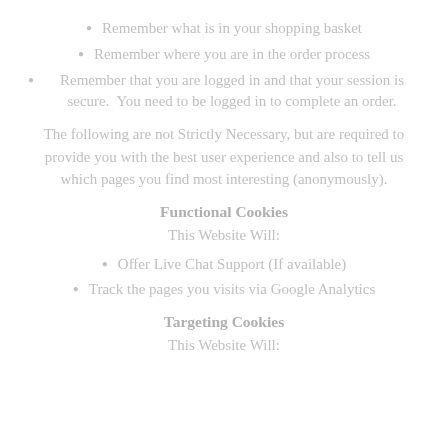Remember what is in your shopping basket
Remember where you are in the order process
Remember that you are logged in and that your session is secure.  You need to be logged in to complete an order.
The following are not Strictly Necessary, but are required to provide you with the best user experience and also to tell us which pages you find most interesting (anonymously).
Functional Cookies
This Website Will:
Offer Live Chat Support (If available)
Track the pages you visits via Google Analytics
Targeting Cookies
This Website Will: